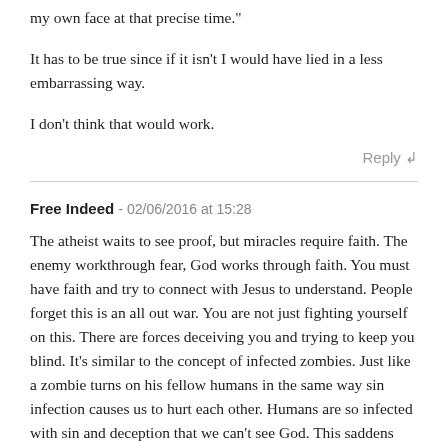my own face at that precise time."
It has to be true since if it isn't I would have lied in a less embarrassing way.
I don't think that would work.
Reply ↲
Free Indeed - 02/06/2016 at 15:28
The atheist waits to see proof, but miracles require faith. The enemy workthrough fear, God works through faith. You must have faith and try to connect with Jesus to understand. People forget this is an all out war. You are not just fighting yourself on this. There are forces deceiving you and trying to keep you blind. It's similar to the concept of infected zombies. Just like a zombie turns on his fellow humans in the same way sin infection causes us to hurt each other. Humans are so infected with sin and deception that we can't see God. This saddens him